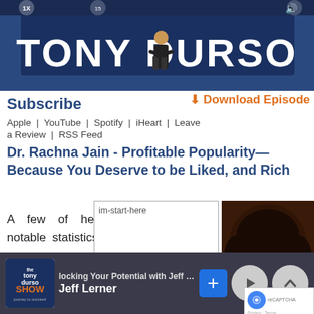[Figure (screenshot): Tony Durso podcast banner with name in large white letters on dark blue background, figure of person standing]
Subscribe
⬇ Download Episode
Apple | YouTube | Spotify | iHeart | Leave a Review | RSS Feed
Dr. Rachna Jain - Profitable Popularity—Because You Deserve to be Liked, and Rich
A few of her notable statistics are:
[Figure (screenshot): Placeholder image with alt text im-start-here]
[Figure (photo): Photo of Dr. Rachna Jain smiling, dark hair, wearing earrings]
locking Your Potential with Jeff Lerner & Jeff Lerner